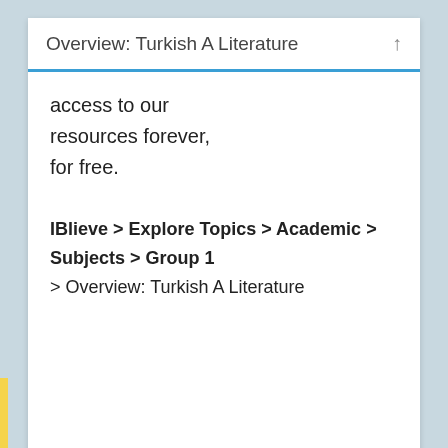Overview: Turkish A Literature
access to our resources forever, for free.
IBlieve > Explore Topics > Academic > Subjects > Group 1 > Overview: Turkish A Literature
HOME / BLOG / INITIATIVES / JOIN OUR TEAM / ABOUT